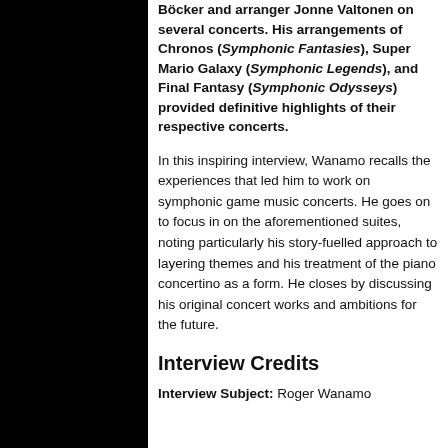Böcker and arranger Jonne Valtonen on several concerts. His arrangements of Chronos (Symphonic Fantasies), Super Mario Galaxy (Symphonic Legends), and Final Fantasy (Symphonic Odysseys) provided definitive highlights of their respective concerts.
In this inspiring interview, Wanamo recalls the experiences that led him to work on symphonic game music concerts. He goes on to focus in on the aforementioned suites, noting particularly his story-fuelled approach to layering themes and his treatment of the piano concertino as a form. He closes by discussing his original concert works and ambitions for the future.
Interview Credits
Interview Subject: Roger Wanamo